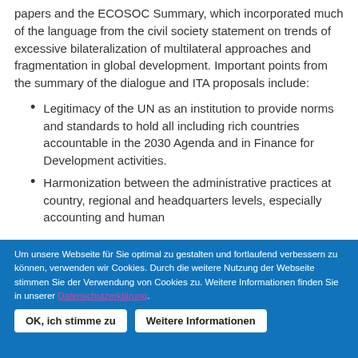papers and the ECOSOC Summary, which incorporated much of the language from the civil society statement on trends of excessive bilateralization of multilateral approaches and fragmentation in global development. Important points from the summary of the dialogue and ITA proposals include:
Legitimacy of the UN as an institution to provide norms and standards to hold all including rich countries accountable in the 2030 Agenda and in Finance for Development activities.
Harmonization between the administrative practices at country, regional and headquarters levels, especially accounting and human
Um unsere Webseite für Sie optimal zu gestalten und fortlaufend verbessern zu können, verwenden wir Cookies. Durch die weitere Nutzung der Webseite stimmen Sie der Verwendung von Cookies zu. Weitere Informationen finden Sie in unserer Datenschutzerklärung.